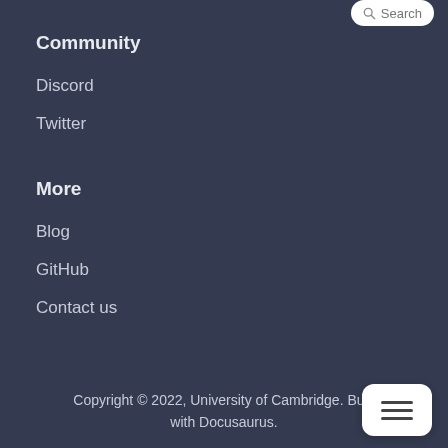Community
Discord
Twitter
More
Blog
GitHub
Contact us
Copyright © 2022, University of Cambridge. Built with Docusaurus.